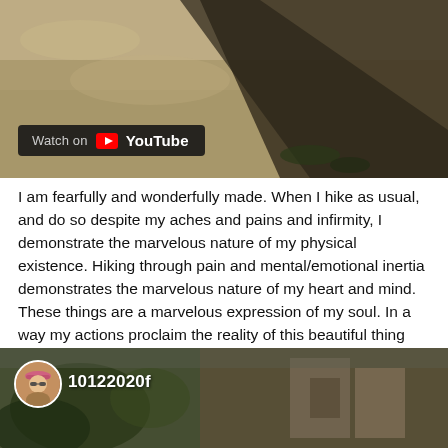[Figure (photo): Top photo of a dirt/sand ground texture with a dark diagonal shadow or crevice, and a YouTube 'Watch on YouTube' badge overlay in the lower left corner]
I am fearfully and wonderfully made. When I hike as usual, and do so despite my aches and pains and infirmity, I demonstrate the marvelous nature of my physical existence. Hiking through pain and mental/emotional inertia demonstrates the marvelous nature of my heart and mind. These things are a marvelous expression of my soul. In a way my actions proclaim the reality of this beautiful thing called livin'. It's not my job to make anyone understand, but it feels like it's my duty to make the demonstration.
[Figure (screenshot): Bottom photo showing a video thumbnail with a circular avatar of a person wearing a pink hat, a video ID label '10122020f', and a background of outdoor scene with buildings and foliage]